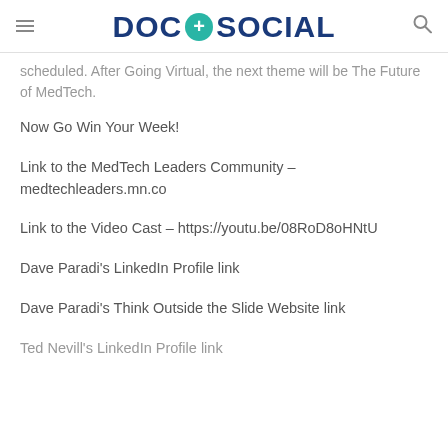DOC + SOCIAL
scheduled. After Going Virtual, the next theme will be The Future of MedTech.
Now Go Win Your Week!
Link to the MedTech Leaders Community – medtechleaders.mn.co
Link to the Video Cast – https://youtu.be/08RoD8oHNtU
Dave Paradi's LinkedIn Profile link
Dave Paradi's Think Outside the Slide Website link
Ted Nevill's LinkedIn Profile link